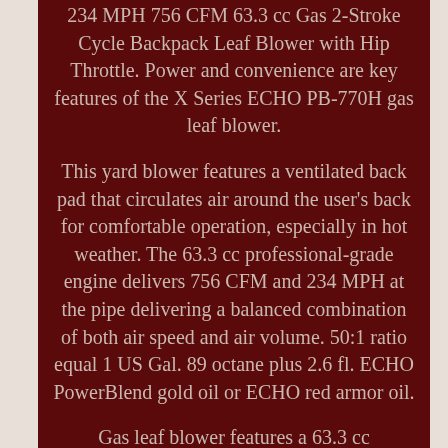234 MPH 756 CFM 63.3 cc Gas 2-Stroke Cycle Backpack Leaf Blower with Hip Throttle. Power and convenience are key features of the X Series ECHO PB-770H gas leaf blower.
This yard blower features a ventilated back pad that circulates air around the user's back for comfortable operation, especially in hot weather. The 63.3 cc professional-grade engine delivers 756 CFM and 234 MPH at the pipe delivering a balanced combination of both air speed and air volume. 50:1 ratio equal 1 US Gal. 89 octane plus 2.6 fl. ECHO PowerBlend gold oil or ECHO red armor oil.
Gas leaf blower features a 63.3 cc professional-grade 2-stroke engine. Unique vented back pad for hot weather and padded backrest/shoulder pads. Posi-loc pipes provide secure connection. Hip mounted throttle with cruise control.
Powerful combination of air speed and air volume. Side-mounted dual stage air filter is